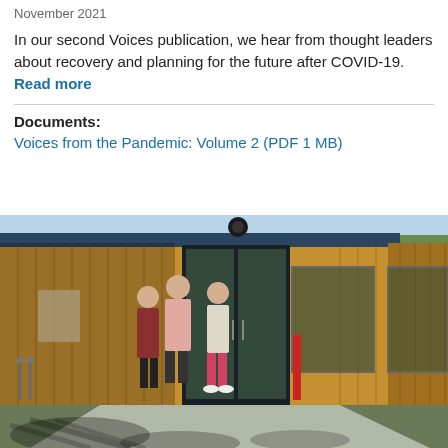November 2021
In our second Voices publication, we hear from thought leaders about recovery and planning for the future after COVID-19. Read more
Documents:
Voices from the Pandemic: Volume 2 (PDF 1 MB)
[Figure (photo): Three people walking toward the entrance of a modern wooden-clad building on a sunny day. The building features vertical timber cladding, large glass doors, and a flat roof with a dark fascia. A paved path leads to the entrance with trees and shadows visible in the foreground.]